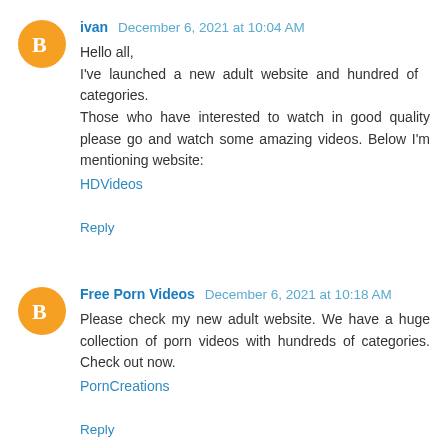ivan December 6, 2021 at 10:04 AM
Hello all,
I've launched a new adult website and hundred of categories.
Those who have interested to watch in good quality please go and watch some amazing videos. Below I'm mentioning website:
HDVideos
Reply
Free Porn Videos December 6, 2021 at 10:18 AM
Please check my new adult website. We have a huge collection of porn videos with hundreds of categories. Check out now.
PornCreations
Reply